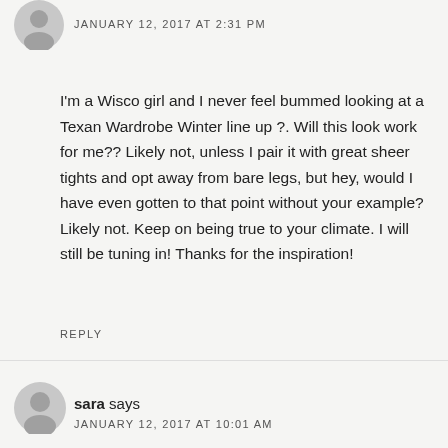JANUARY 12, 2017 AT 2:31 PM
I'm a Wisco girl and I never feel bummed looking at a Texan Wardrobe Winter line up ?. Will this look work for me?? Likely not, unless I pair it with great sheer tights and opt away from bare legs, but hey, would I have even gotten to that point without your example? Likely not. Keep on being true to your climate. I will still be tuning in! Thanks for the inspiration!
REPLY
sara says
JANUARY 12, 2017 AT 10:01 AM